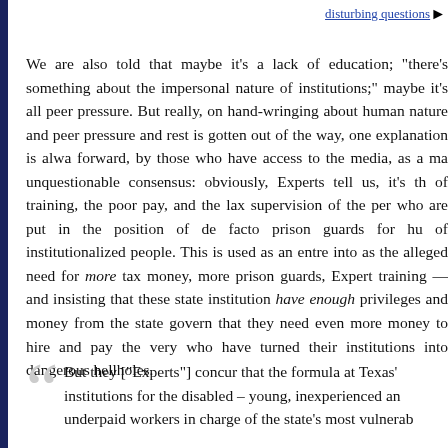disturbing questions
We are also told that maybe it’s a lack of education; “there’s something about the impersonal nature of institutions;” maybe it’s all peer pressure. But really, once hand-wringing about human nature and peer pressure and the rest is gotten out of the way, one explanation is always forward, by those who have access to the media, as a matter of unquestionable consensus: obviously, Experts tell us, it’s the lack of training, the poor pay, and the lax supervision of the persons who are put in the position of de facto prison guards for hundreds of institutionalized people. This is used as an entre into asserting the alleged need for more tax money, more prison guards, more Expert training — and insisting that these state institutions already have enough privileges and money from the state government, but that they need even more money to hire and pay the very people who have turned their institutions into dangerous hellholes.
But they [“Experts”] concur that the formula at Texas’ institutions for the disabled – young, inexperienced and underpaid workers in charge of the state’s most vulnerable